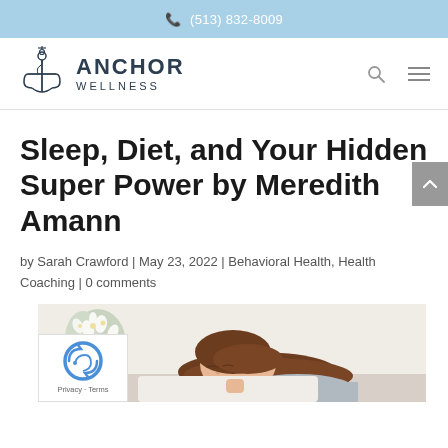(513) 832-8009
[Figure (logo): Anchor Wellness logo with anchor icon and text ANCHOR WELLNESS]
Sleep, Diet, and Your Hidden Super Power by Meredith Amann
by Sarah Crawford | May 23, 2022 | Behavioral Health, Health Coaching | 0 comments
[Figure (photo): Woman sleeping with flowers in background]